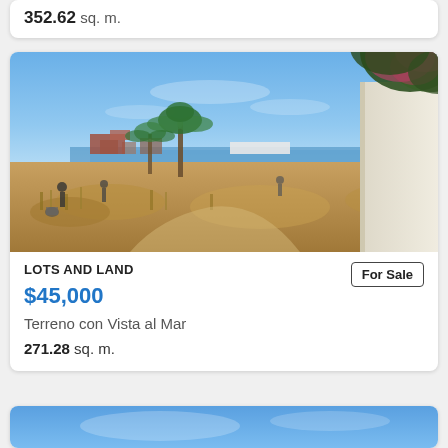352.62 sq. m.
[Figure (photo): Outdoor photo of a vacant lot with dry scrubland, palm trees, ocean view in background, blue sky, and a white wall with pink bougainvillea on the right]
LOTS AND LAND
For Sale
$45,000
Terreno con Vista al Mar
271.28 sq. m.
[Figure (photo): Blue sky photo, partial view at bottom of page]